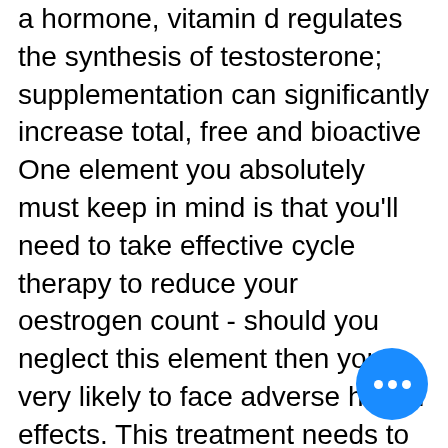a hormone, vitamin d regulates the synthesis of testosterone; supplementation can significantly increase total, free and bioactive One element you absolutely must keep in mind is that you'll need to take effective cycle therapy to reduce your oestrogen count - should you neglect this element then you're very likely to face adverse health effects. This treatment needs to continue after your cycle has finished in order to increase naturally occurring test count again; otherwise, you risk suppressing natural test production in general. What Kind of Results Can You Expect to See? When using a dianabol injection, providing you're a relatively inexperienced user - expect to see some fairly drastic results take place. It's not uncommon for individuals to gain 20-30lbs in the initial few months when using dianabol it's likely that an experienced user isn't to reach this level due to their body being more tolerant of the substance, but it's still
[Figure (other): Blue circular chat bubble button with three white dots (ellipsis), positioned in the bottom-right area of the page.]